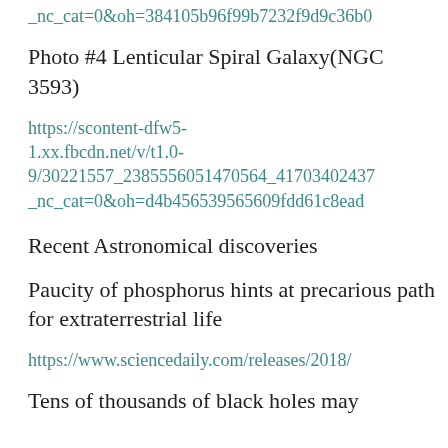_nc_cat=0&oh=384105b96f99b7232f9d9c36b0...
Photo #4 Lenticular Spiral Galaxy(NGC 3593)
https://scontent-dfw5-1.xx.fbcdn.net/v/t1.0-9/30221557_2385556051470564_41703402437..._nc_cat=0&oh=d4b456539565609fdd61c8ead...
Recent Astronomical discoveries
Paucity of phosphorus hints at precarious path for extraterrestrial life
https://www.sciencedaily.com/releases/2018/...
Tens of thousands of black holes may...